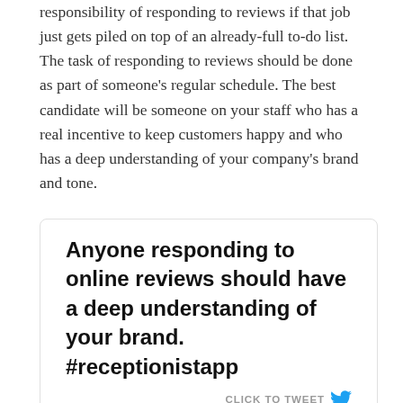For example, no one is going to like the responsibility of responding to reviews if that job just gets piled on top of an already-full to-do list. The task of responding to reviews should be done as part of someone's regular schedule. The best candidate will be someone on your staff who has a real incentive to keep customers happy and who has a deep understanding of your company's brand and tone.
[Figure (other): Tweet/quote box with bold text: 'Anyone responding to online reviews should have a deep understanding of your brand. #receptionistapp' with a 'CLICK TO TWEET' button and Twitter bird icon.]